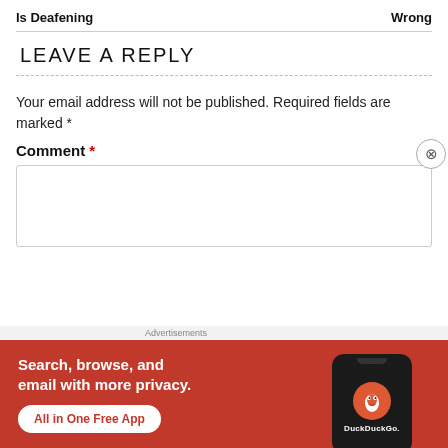Is Deafening   Wrong
LEAVE A REPLY
Your email address will not be published. Required fields are marked *
Comment *
[Figure (screenshot): Empty comment text area input box with a close/dismiss button (circled X) at bottom right]
Advertisements
[Figure (illustration): DuckDuckGo advertisement banner with orange-red background showing text: Search, browse, and email with more privacy. All in One Free App. Shows a phone mockup with DuckDuckGo logo.]